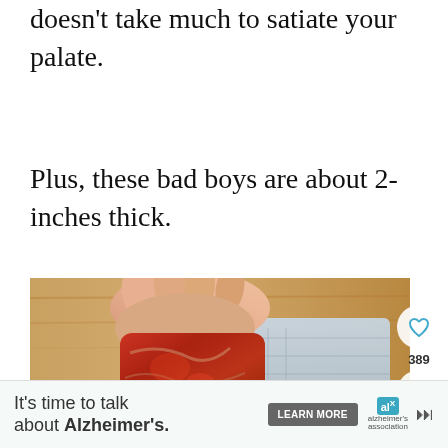doesn’t take much to satiate your palate.
Plus, these bad boys are about 2-inches thick.
[Figure (photo): A hand holding a thick raw steak (approximately 2-inches thick) over a blue tray on a wooden surface. The meat appears to be a filet mignon or similar cut, showing marbling and raw red color.]
It’s time to talk about Alzheimer’s. LEARN MORE